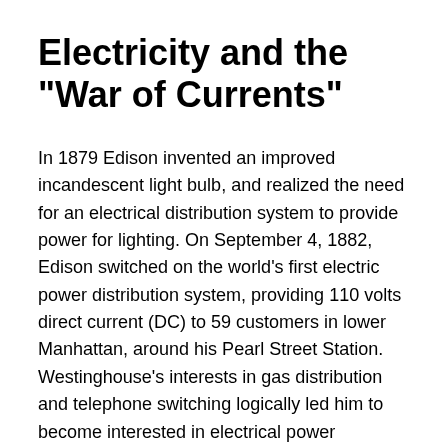Electricity and the "War of Currents"
In 1879 Edison invented an improved incandescent light bulb, and realized the need for an electrical distribution system to provide power for lighting. On September 4, 1882, Edison switched on the world's first electric power distribution system, providing 110 volts direct current (DC) to 59 customers in lower Manhattan, around his Pearl Street Station.  Westinghouse's interests in gas distribution and telephone switching logically led him to become interested in electrical power distribution. He investigated Edison's scheme, but decided that it was too inefficient to be scaled up to a large size. Edison's power network was based on low-voltage DC, which meant large currents and serious power losses. An AC power system allowed voltages to be "stepped up" by a transformer for distribution, reducing power losses, and then "stepped